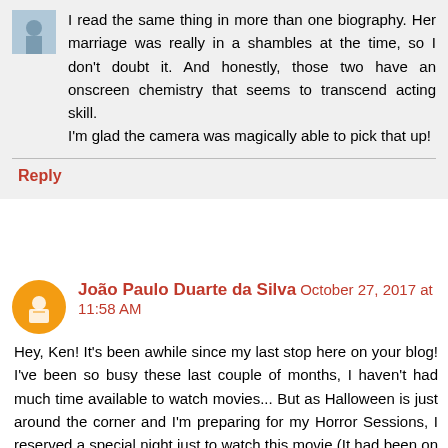I read the same thing in more than one biography. Her marriage was really in a shambles at the time, so I don't doubt it. And honestly, those two have an onscreen chemistry that seems to transcend acting skill.
I'm glad the camera was magically able to pick that up!
Reply
João Paulo Duarte da Silva  October 27, 2017 at 11:58 AM
Hey, Ken! It's been awhile since my last stop here on your blog! I've been so busy these last couple of months, I haven't had much time available to watch movies... But as Halloween is just around the corner and I'm preparing for my Horror Sessions, I reserved a special night just to watch this movie (It had been on my To-Watch-List for years)... I was blown away by aaaall of the feelings I felt at the same time, what a bittersweet journey!